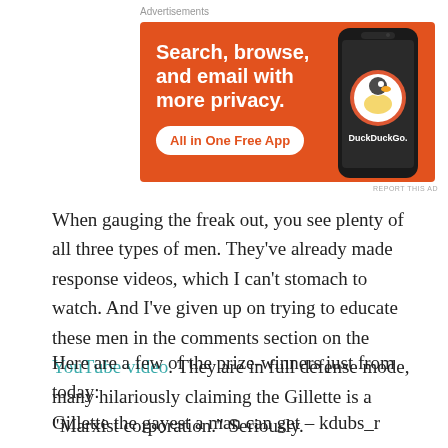Advertisements
[Figure (illustration): DuckDuckGo advertisement banner with orange background. Text reads: 'Search, browse, and email with more privacy. All in One Free App'. Shows a smartphone with the DuckDuckGo logo and text.]
REPORT THIS AD
When gauging the freak out, you see plenty of all three types of men. They've already made response videos, which I can't stomach to watch. And I've given up on trying to educate these men in the comments section on the YouTube video. They are in full defense mode, many hilariously claiming the Gillette is a "Marxist corporation." Seriously.
Here are a few of the prize-winners just from today:
Gillette the gayest a man can get – kdubs_r